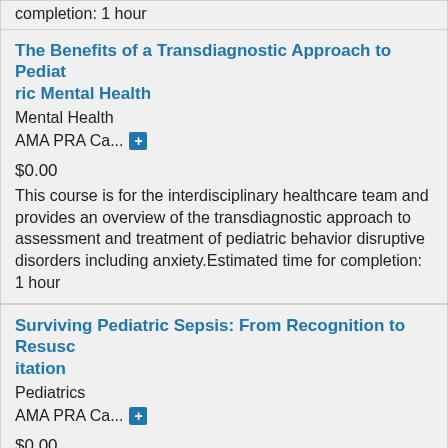completion: 1 hour
The Benefits of a Transdiagnostic Approach to Pediatric Mental Health
Mental Health
AMA PRA Ca...
$0.00
This course is for the interdisciplinary healthcare team and provides an overview of the transdiagnostic approach to assessment and treatment of pediatric behavior disruptive disorders including anxiety.Estimated time for completion: 1 hour
Surviving Pediatric Sepsis: From Recognition to Resuscitation
Pediatrics
AMA PRA Ca...
$0.00
This course is for the interdisciplinary healthcare team and provides an overview of pediatric sepsis from recognition to resuscitation. Estimated time for completion: 1 hour